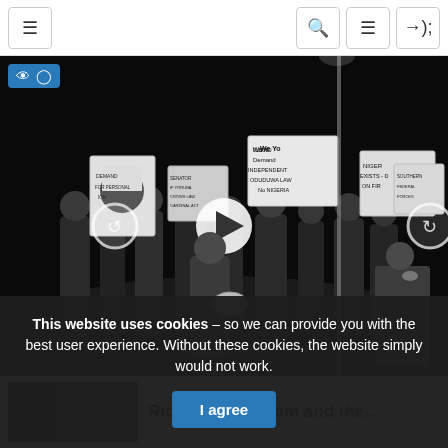Navigation bar with menu, search, list, and login buttons
[Figure (photo): Black and white photograph of a protest march at night. People carry placards with text including 'We Yorubas Demand Independent Oduduwa Law No Nigeria' and 'Niger Exists On Fire'. Some signs show a portrait of a military officer. A large crowd is visible in the background.]
[Figure (screenshot): Partial thumbnail image visible at bottom left, dark tones]
Riots For Freedom and the...
This website uses cookies – so we can provide you with the best user experience. Without these cookies, the website simply would not work.